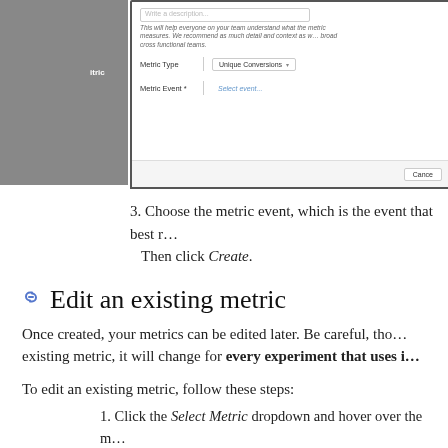[Figure (screenshot): A modal dialog UI showing fields for metric configuration. Contains an input field, helper text about the metric, a Metric Type dropdown showing 'Unique Conversions', a Metric Event field with 'Select event...' placeholder, and a Cancel button in the footer. Left side has a gray sidebar with partial label text.]
3. Choose the metric event, which is the event that best r… Then click Create.
Edit an existing metric
Once created, your metrics can be edited later. Be careful, tho… existing metric, it will change for every experiment that uses i…
To edit an existing metric, follow these steps:
1. Click the Select Metric dropdown and hover over the m…
2. Click Edit Full Definition. The Edit Metric modal will ope…